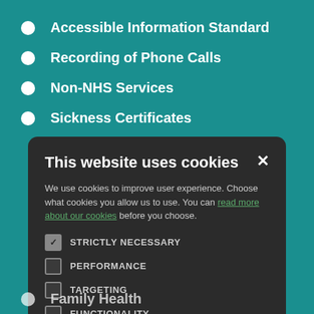Accessible Information Standard
Recording of Phone Calls
Non-NHS Services
Sickness Certificates
[Figure (screenshot): Cookie consent modal dialog with dark background. Title: 'This website uses cookies'. Body text about cookies. Checkboxes for STRICTLY NECESSARY (checked), PERFORMANCE, TARGETING, FUNCTIONALITY. Two buttons: ACCEPT ALL (green) and DECLINE ALL (outlined).]
Family Health